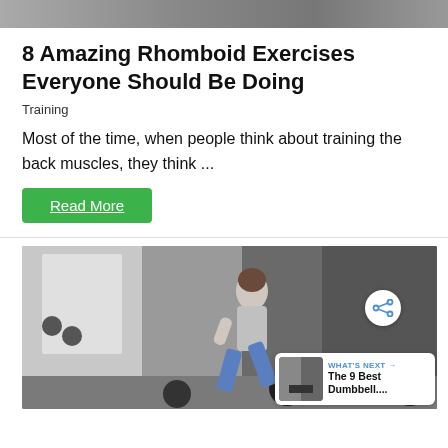[Figure (photo): Top strip of a photo cropped at the top of the page]
8 Amazing Rhomboid Exercises Everyone Should Be Doing
Training
Most of the time, when people think about training the back muscles, they think ...
Read More
[Figure (photo): Black and white photo of a woman in a lunge position in a gym with barbells and weights on the floor. She is wearing blue leggings and a gray tank top.]
WHAT'S NEXT → The 9 Best Dumbbell....